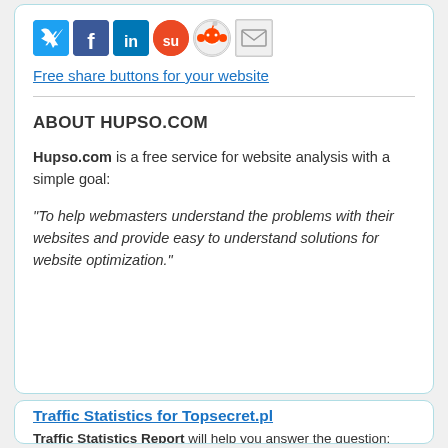[Figure (other): Row of social media share icons: Twitter (blue bird), Facebook (blue F), LinkedIn (blue in), StumbleUpon (orange su), Reddit (alien), Email (envelope)]
Free share buttons for your website
ABOUT HUPSO.COM
Hupso.com is a free service for website analysis with a simple goal:
"To help webmasters understand the problems with their websites and provide easy to understand solutions for website optimization."
Traffic Statistics for Topsecret.pl
Traffic Statistics Report will help you answer the question: "How much is this website worth?". It will estimate how much daily visitors and pageviews there are on this website.